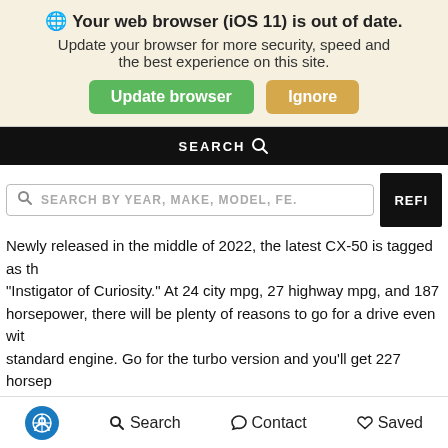[Figure (screenshot): Browser update notification banner with globe icon, bold title 'Your web browser (iOS 11) is out of date.', subtitle text, and two buttons: green 'Update browser' and tan 'Ignore']
[Figure (screenshot): Black navigation bar with 'SEARCH' text and magnifying glass icon]
[Figure (screenshot): Search bar with placeholder 'SEARCH BY YEAR, MAKE, MODEL, FE.' and a dark 'REFI' button, plus orange floating contact buttons on the right]
Newly released in the middle of 2022, the latest CX-50 is tagged as the "Instigator of Curiosity." At 24 city mpg, 27 highway mpg, and 187 horsepower, there will be plenty of reasons to go for a drive even with the standard engine. Go for the turbo version and you'll get 227 horsepower on 87 octane fuel or 256 horsepower on 98 octane fuel.
What's more, the included Mazda Intelligent Drive safety package keeps everyone safe with the latest in driver assistance. The Advanced Smart City Brake Support, for example, is a forward-collision and pedestrian detection system that can automatically stop the vehicle at 50 miles per hour or slower,
[Figure (screenshot): Bottom navigation bar with accessibility icon, Search, Contact, and Saved buttons]